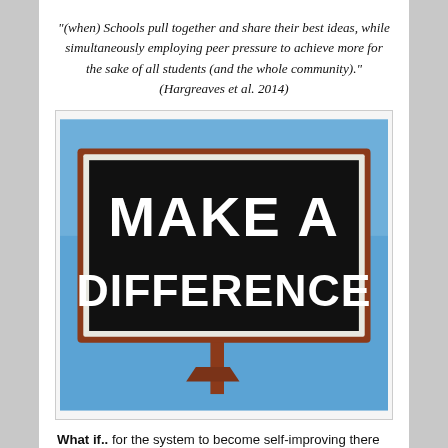"(when) Schools pull together and share their best ideas, while simultaneously employing peer pressure to achieve more for the sake of all students (and the whole community)." (Hargreaves et al. 2014)
[Figure (photo): A billboard sign with white bold text reading 'MAKE A DIFFERENCE' on a black background with a rust-colored metal frame, against a blue sky background.]
What if.. for the system to become self-improving there is a need to scrutinise, evaluate and to pursue discernible difference on the things that matter? This type of